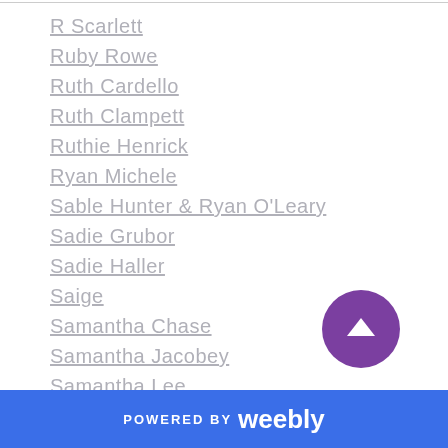R Scarlett
Ruby Rowe
Ruth Cardello
Ruth Clampett
Ruthie Henrick
Ryan Michele
Sable Hunter & Ryan O'Leary
Sadie Grubor
Sadie Haller
Saige
Samantha Chase
Samantha Jacobey
Samantha Lee
Sam Mariano
Sapphire Knight
Sarah Brianne
Sarah Castille
POWERED BY weebly